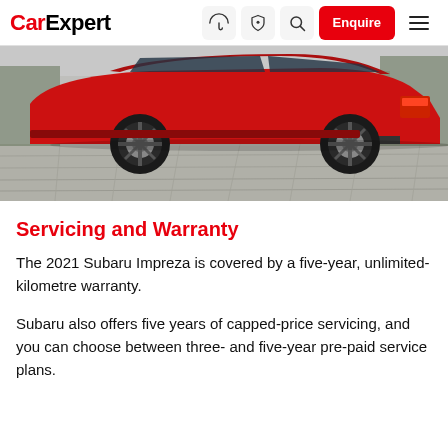CarExpert | Enquire
[Figure (photo): Rear three-quarter view of a red Subaru Impreza on a paved surface with trees in background]
Servicing and Warranty
The 2021 Subaru Impreza is covered by a five-year, unlimited-kilometre warranty.
Subaru also offers five years of capped-price servicing, and you can choose between three- and five-year pre-paid service plans.